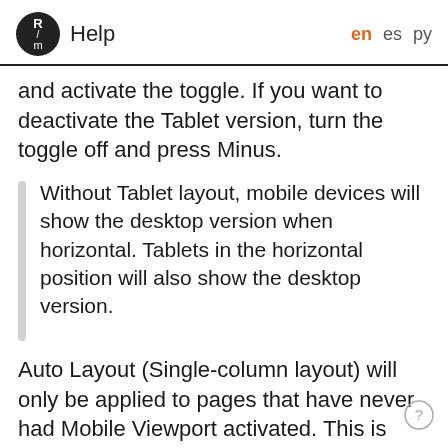Help  en  es  py
and activate the toggle. If you want to deactivate the Tablet version, turn the toggle off and press Minus.
Without Tablet layout, mobile devices will show the desktop version when horizontal. Tablets in the horizontal position will also show the desktop version.
Auto Layout (Single-column layout) will only be applied to pages that have never had Mobile Viewport activated. This is done to